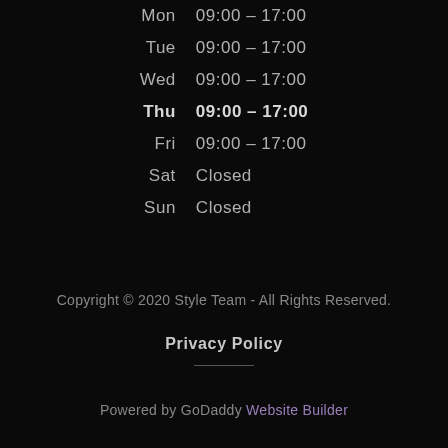| Mon | 09:00 – 17:00 |
| Tue | 09:00 – 17:00 |
| Wed | 09:00 – 17:00 |
| Thu | 09:00 – 17:00 |
| Fri | 09:00 – 17:00 |
| Sat | Closed |
| Sun | Closed |
Copyright © 2020 Style Team - All Rights Reserved.
Privacy Policy
Powered by GoDaddy Website Builder